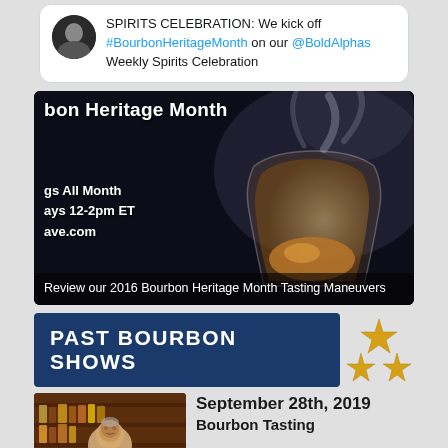[Figure (screenshot): Tweet card with avatar showing SPIRITS CELEBRATION: We kick off #BourbonHeritageMonth on our @BoldAlphas Weekly Spirits Celebration]
[Figure (photo): Bourbon Heritage Month promotional image showing a whiskey glass with smoke, text: 'bon Heritage Month', 'gs All Month', 'ays 12-2pm ET', 'ave.com', and caption 'Review our 2016 Bourbon Heritage Month Tasting Maneuvers']
[Figure (screenshot): PAST BOURBON SHOWS banner with gold stars cluster decoration]
[Figure (screenshot): Thumbnail image of show host in a bar setting]
September 28th, 2019 Bourbon Tasting